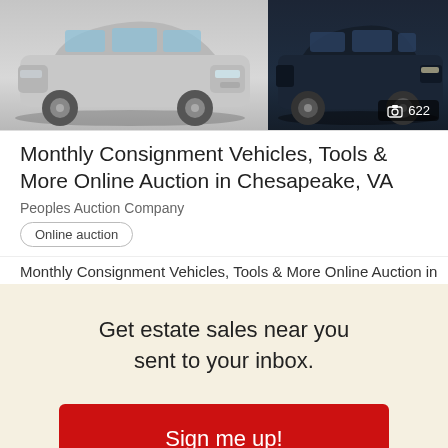[Figure (photo): Two vehicles side by side: a silver minivan on the left and a dark-colored SUV/truck on the right, with a photo count badge showing a camera icon and '622']
Monthly Consignment Vehicles, Tools & More Online Auction in Chesapeake, VA
Peoples Auction Company
Online auction
Monthly Consignment Vehicles, Tools & More Online Auction in
Get estate sales near you sent to your inbox.
Sign me up!
No Thanks